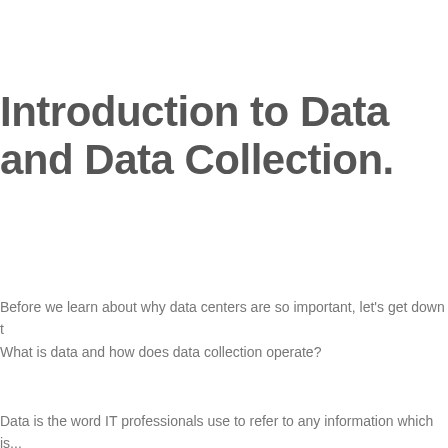Introduction to Data and Data Collection.
Before we learn about why data centers are so important, let's get down to basics. What is data and how does data collection operate?
Data is the word IT professionals use to refer to any information which is...